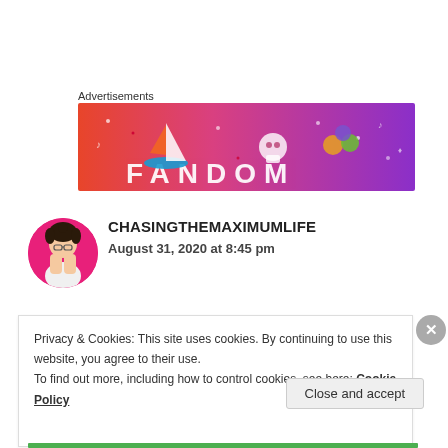Advertisements
[Figure (illustration): Fandom advertisement banner with gradient background from orange/red to purple, featuring illustrated icons (sailboat, skull, dice, gems) and the word FANDOM in large block letters at the bottom]
[Figure (illustration): Circular avatar showing an anime-style girl with dark hair, glasses, and pink background]
CHASINGTHEMAXIMUMLIFE
August 31, 2020 at 8:45 pm
Privacy & Cookies: This site uses cookies. By continuing to use this website, you agree to their use.
To find out more, including how to control cookies, see here: Cookie Policy
Close and accept